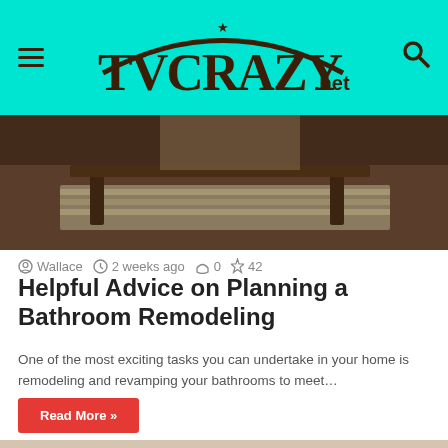TVCRAZY.NET
[Figure (photo): Interior bathroom scene with wooden furniture and striped rug, dark warm tones]
Wallace  2 weeks ago  0  42
Helpful Advice on Planning a Bathroom Remodeling
One of the most exciting tasks you can undertake in your home is remodeling and revamping your bathrooms to meet…
Read More »
[Figure (photo): Close-up of a hand pressing a doorbell or intercom button]